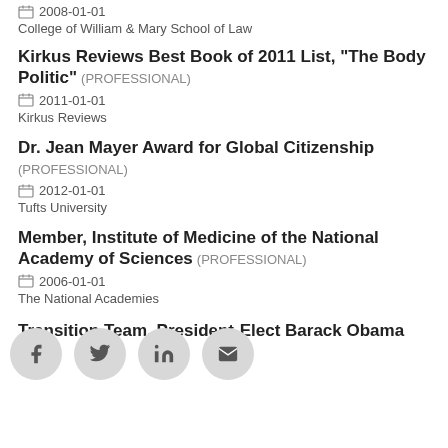2008-01-01
College of William & Mary School of Law
Kirkus Reviews Best Book of 2011 List, "The Body Politic" (PROFESSIONAL)
2011-01-01
Kirkus Reviews
Dr. Jean Mayer Award for Global Citizenship (PROFESSIONAL)
2012-01-01
Tufts University
Member, Institute of Medicine of the National Academy of Sciences (PROFESSIONAL)
2006-01-01
The National Academies
Transition Team, President-Elect Barack Obama